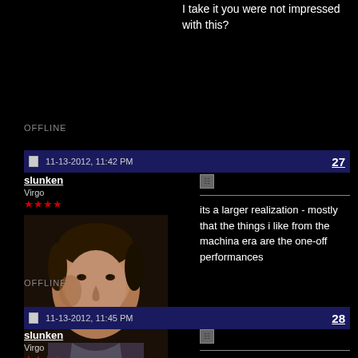I take it you were not impressed with this?
OFFLINE
11-13-2012, 11:42 PM
27
slunken
Virgo
its a larger realization - mostly that the things i like from the machina era are the one-off performances
Posts: 41,700
OFFLINE
11-13-2012, 11:45 PM
28
slunken
Virgo
eh that's not even selling it right